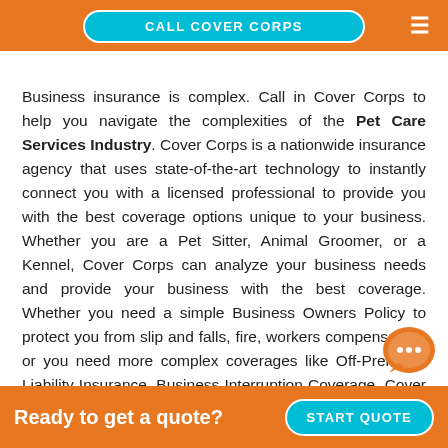CALL COVER CORPS
Business insurance is complex. Call in Cover Corps to help you navigate the complexities of the Pet Care Services Industry. Cover Corps is a nationwide insurance agency that uses state-of-the-art technology to instantly connect you with a licensed professional to provide you with the best coverage options unique to your business. Whether you are a Pet Sitter, Animal Groomer, or a Kennel, Cover Corps can analyze your business needs and provide your business with the best coverage. Whether you need a simple Business Owners Policy to protect you from slip and falls, fire, workers compensation, or you need more complex coverages like Off-Premises Liability Insurance, Business Interruption Coverage, Cover Corps...
Ready to get a quote? START QUOTE